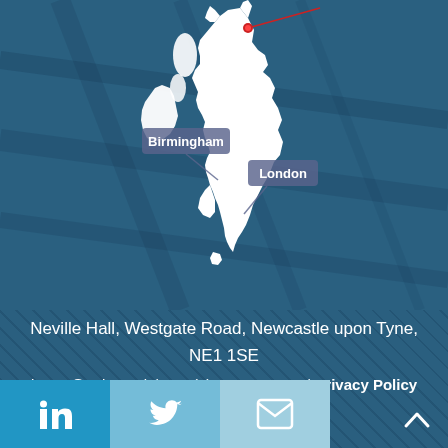[Figure (map): Map of the United Kingdom (white silhouette) on a dark teal aerial-photo background. Red pin marker in Scotland/northeast area. Callout labels for 'Birmingham' (center-left of England) and 'London' (lower-right of England).]
Neville Hall, Westgate Road, Newcastle upon Tyne, NE1 1SE
invest@ngi.org.uk | +44 (0)191 440 5761 | Privacy Policy